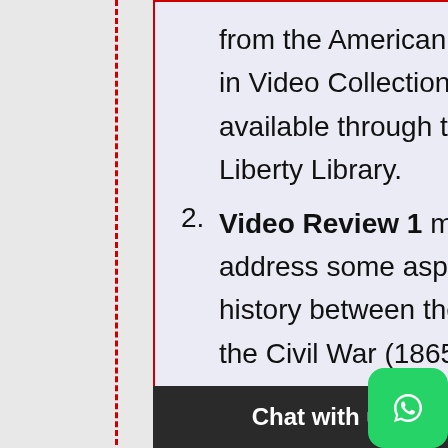from the American History in Video Collection, available through the Liberty Library.
Video Review 1 must address some aspect of U.S. history between the end of the Civil War (1865) and the end of World War II (1945).
Video Review 2 must